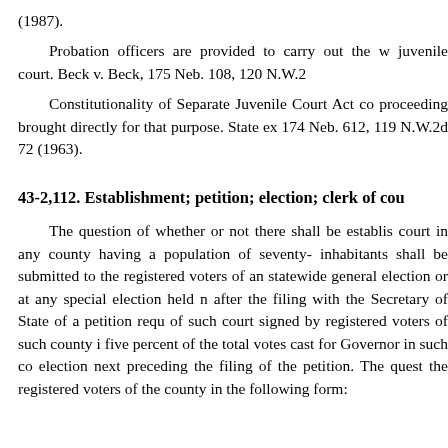(1987).
Probation officers are provided to carry out the work of the juvenile court. Beck v. Beck, 175 Neb. 108, 120 N.W.2d...
Constitutionality of Separate Juvenile Court Act could not be attacked in a proceeding brought directly for that purpose. State ex... 174 Neb. 612, 119 N.W.2d 72 (1963).
43-2,112. Establishment; petition; election; clerk of cou...
The question of whether or not there shall be established a court in any county having a population of seventy-... inhabitants shall be submitted to the registered voters of an... statewide general election or at any special election held n... after the filing with the Secretary of State of a petition requ... of such court signed by registered voters of such county in... five percent of the total votes cast for Governor in such co... election next preceding the filing of the petition. The quest... the registered voters of the county in the following form: